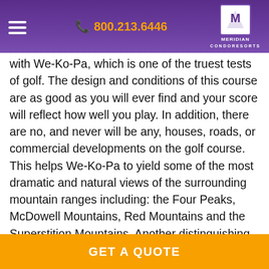☰  📞 800.213.6446   MERIDIAN CONDORESORTS
with We-Ko-Pa, which is one of the truest tests of golf. The design and conditions of this course are as good as you will ever find and your score will reflect how well you play. In addition, there are no, and never will be any, houses, roads, or commercial developments on the golf course. This helps We-Ko-Pa to yield some of the most dramatic and natural views of the surrounding mountain ranges including: the Four Peaks, McDowell Mountains, Red Mountains and the Superstition Mountains. Another distinguishing factor of We-Ko-Pa is the ample amount of natural mesquite, palo verde, saguaros, shrubbery and desert vegetation that sprawl through its arroyos and canyons, creating a lush desert feel.
GET A QUOTE